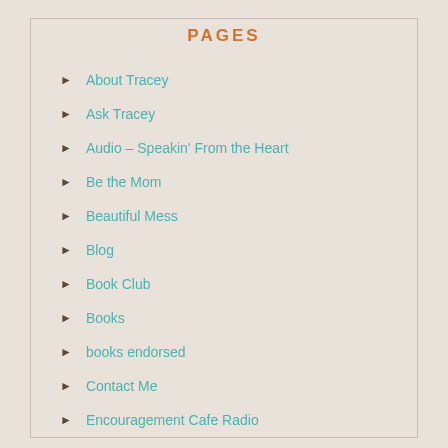PAGES
About Tracey
Ask Tracey
Audio – Speakin' From the Heart
Be the Mom
Beautiful Mess
Blog
Book Club
Books
books endorsed
Contact Me
Encouragement Cafe Radio
FAQs